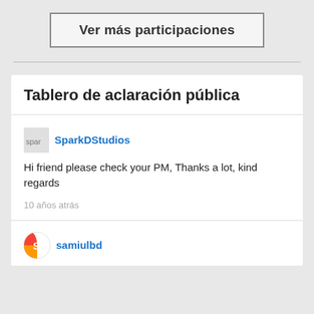Ver más participaciones
Tablero de aclaración pública
SparkDStudios
Hi friend please check your PM, Thanks a lot, kind regards
10 años atrás
samiulbd